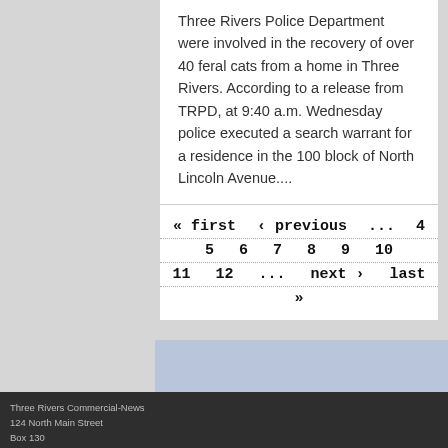Three Rivers Police Department were involved in the recovery of over 40 feral cats from a home in Three Rivers. According to a release from TRPD, at 9:40 a.m. Wednesday police executed a search warrant for a residence in the 100 block of North Lincoln Avenue....
« first ‹ previous ... 4 5 6 7 8 9 10 11 12 ... next › last »
Three Rivers Commercial-News
124 North Main Street
Box 130